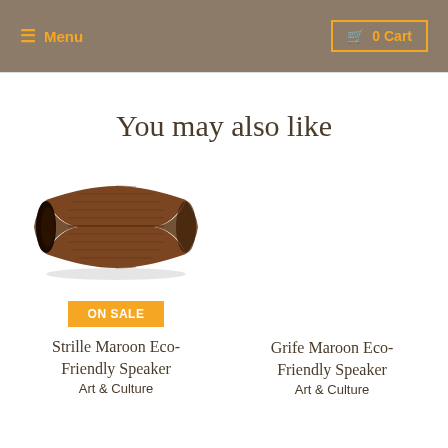≡ Menu | 🛒 0 Cart
You may also like
[Figure (photo): A wooden eco-friendly passive speaker, dark brown hourglass shape with ribbed texture, on white background. Labeled ON SALE.]
ON SALE
Strille Maroon Eco-Friendly Speaker
Art & Culture
Grife Maroon Eco-Friendly Speaker
Art & Culture